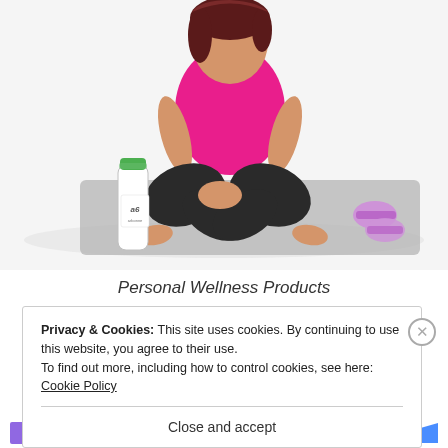[Figure (photo): Woman in pink tank top and black leggings sitting cross-legged on a grey yoga mat. A water bottle with a green logo (Arbonne) is on the left. Pink dumbbells are on the right. White background.]
Personal Wellness Products
Privacy & Cookies: This site uses cookies. By continuing to use this website, you agree to their use.
To find out more, including how to control cookies, see here: Cookie Policy
Close and accept